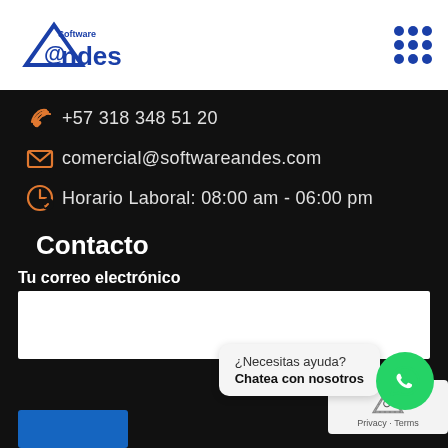[Figure (logo): Software @ndes logo with blue triangle, @ symbol, and mountain graphic]
[Figure (other): 3x3 grid of blue dots representing a menu icon]
+57 318 348 51 20
comercial@softwareandes.com
Horario Laboral: 08:00 am - 06:00 pm
Contacto
Tu correo electrónico
¿Necesitas ayuda?
Chatea con nosotros